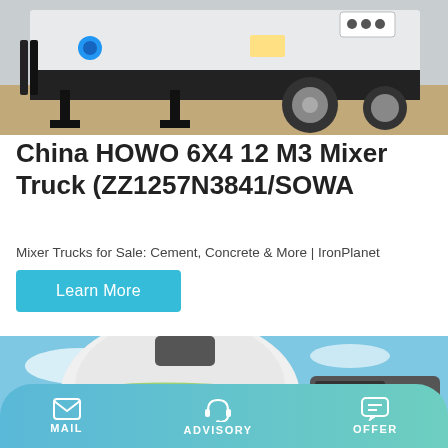[Figure (photo): Close-up photo of a white HOWO mixer truck chassis with blue connector visible, parked on sandy ground]
China HOWO 6X4 12 M3 Mixer Truck (ZZ1257N3841/SOWA
Mixer Trucks for Sale: Cement, Concrete & More | IronPlanet
Learn More
[Figure (photo): Photo of a green and white concrete mixer truck with GALENET branding, photographed against a blue sky]
MAIL   ADVISORY   OFFER